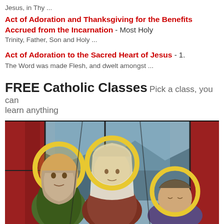Jesus, in Thy ...
Act of Adoration and Thanksgiving for the Benefits Accrued from the Incarnation
- Most Holy Trinity, Father, Son and Holy ...
Act of Adoration to the Sacred Heart of Jesus
- 1. The Word was made Flesh, and dwelt amongst ...
FREE Catholic Classes Pick a class, you can learn anything
[Figure (photo): Stained glass window depicting three holy figures with golden halos — an elderly bearded man on the left, a woman in a white veil in the center, and a younger figure on the right, with red drapery and a mountain landscape in the background.]